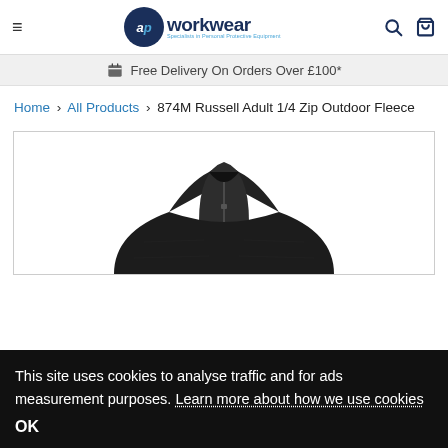ap workwear — Specialists in Personal Protective Equipment
Free Delivery On Orders Over £100*
Home > All Products > 874M Russell Adult 1/4 Zip Outdoor Fleece
[Figure (photo): Product photo of a black 874M Russell Adult 1/4 Zip Outdoor Fleece, showing the collar and upper body of the dark fleece garment against a white background.]
This site uses cookies to analyse traffic and for ads measurement purposes. Learn more about how we use cookies
OK